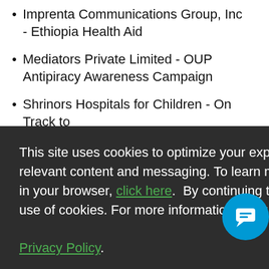Imprenta Communications Group, Inc - Ethiopia Health Aid
Mediators Private Limited - OUP Antipiracy Awareness Campaign
Shrinors Hospitals for Children - On Track to...
This site uses cookies to optimize your experience including more relevant content and messaging. To learn more about disabling cookies in your browser, click here. By continuing to use this site, you accept our use of cookies. For more information, view our updated Privacy Policy.
I Consent
GALA   REGISTER NOW   PRNEWS